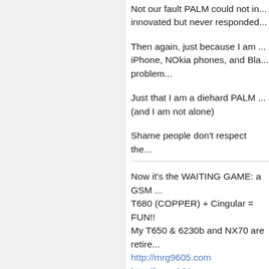Not our fault PALM could not in... innovated but never responded...
Then again, just because I am ... iPhone, NOkia phones, and Bla... problem...
Just that I am a diehard PALM ... (and I am not alone)
Shame people don't respect the...
Now it's the WAITING GAME: a GSM ... T680 (COPPER) + Cingular = FUN!! My T650 & 6230b and NX70 are retire... http://mrg9605.com http://ipgeek21.com noncents.net http://seresqueridos.com
justdai.com
reddingk.com